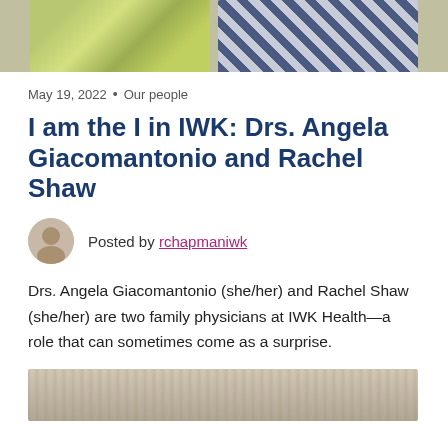[Figure (photo): Top portion of two people wearing dresses — one in a yellow-green patterned dress, one in a navy/white plaid dress, cropped at waist level]
May 19, 2022  •  Our people
I am the I in IWK: Drs. Angela Giacomantonio and Rachel Shaw
Posted by rchapmaniwk
Drs. Angela Giacomantonio (she/her) and Rachel Shaw (she/her) are two family physicians at IWK Health—a role that can sometimes come as a surprise.
[Figure (photo): Bottom portion of a photo showing a wooden surface background, partially cut off at bottom of page]